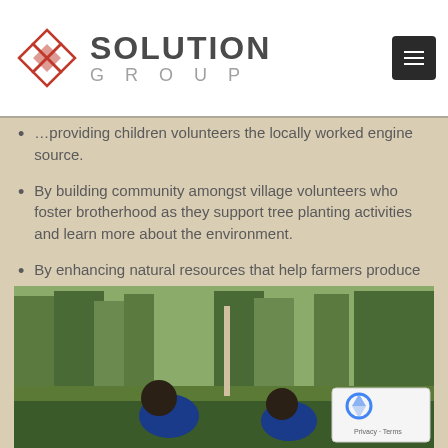SOLUTION GROUP
By providing children volunteers the locally worked engine source.
By building community amongst village volunteers who foster brotherhood as they support tree planting activities and learn more about the environment.
By enhancing natural resources that help farmers produce better crops.
By inspiring tourism with greener landscapes.
[Figure (photo): Two young people in blue shirts working outdoors among trees and greenery]